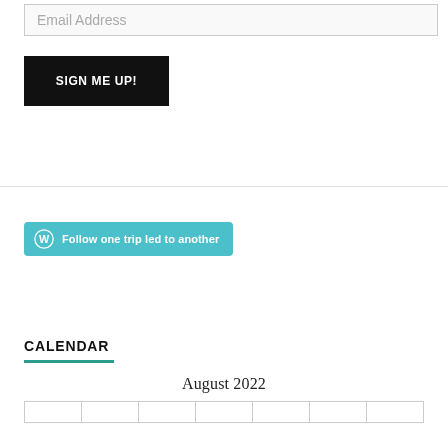Email Address
SIGN ME UP!
[Figure (other): Teal WordPress follow button with text 'Follow one trip led to another']
CALENDAR
August 2022